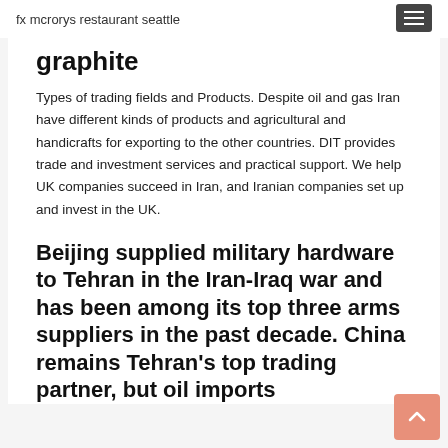fx mcrorys restaurant seattle
graphite
Types of trading fields and Products. Despite oil and gas Iran have different kinds of products and agricultural and handicrafts for exporting to the other countries. DIT provides trade and investment services and practical support. We help UK companies succeed in Iran, and Iranian companies set up and invest in the UK.
Beijing supplied military hardware to Tehran in the Iran-Iraq war and has been among its top three arms suppliers in the past decade. China remains Tehran's top trading partner, but oil imports